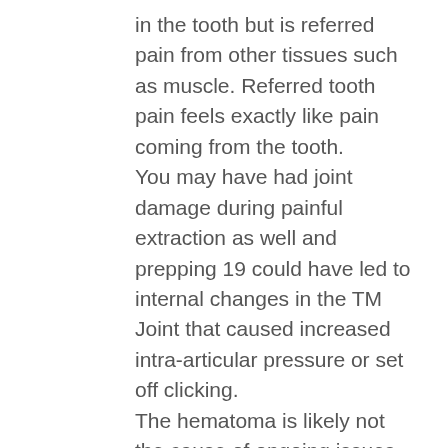in the tooth but is referred pain from other tissues such as muscle. Referred tooth pain feels exactly like pain coming from the tooth. You may have had joint damage during painful extraction as well and prepping 19 could have led to internal changes in the TM Joint that caused increased intra-articular pressure or set off clicking. The hematoma is likely not the cause of ongoing issues but changes in your bite may be. Myofascial pain is the number one type of referred pain. It is unlikely but not impossible that he damaged the nerve, nerve damage from injections would usually heal